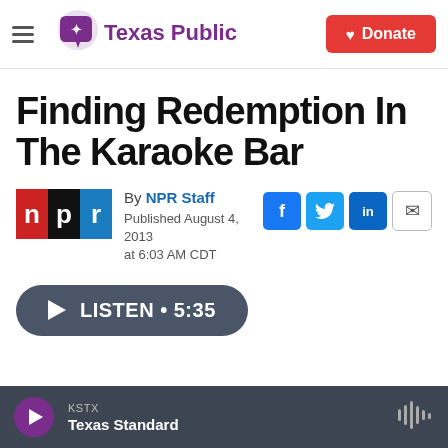Texas Public Radio | Donate
Finding Redemption In The Karaoke Bar
By NPR Staff
Published August 4, 2013 at 6:03 AM CDT
[Figure (other): Listen audio player button showing LISTEN • 5:35]
KSTX Texas Standard